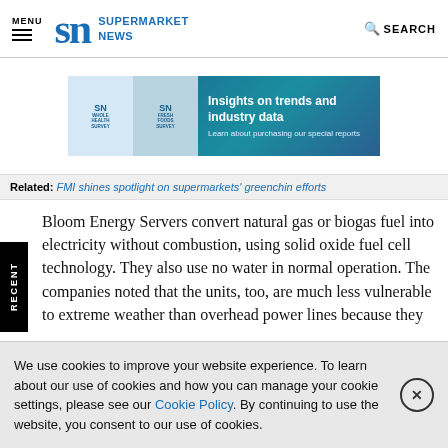MENU | SN SUPERMARKET NEWS | SEARCH
[Figure (infographic): SN Supermarket News ad banner: Whole Health Survey and Fresh Foods Survey covers with text 'Insights on trends and industry data. Learn about purchasing our special reports']
Related: FMI shines spotlight on supermarkets' greenchin efforts
Bloom Energy Servers convert natural gas or biogas fuel into electricity without combustion, using solid oxide fuel cell technology. They also use no water in normal operation. The companies noted that the units, too, are much less vulnerable to extreme weather than overhead power lines because they
We use cookies to improve your website experience. To learn about our use of cookies and how you can manage your cookie settings, please see our Cookie Policy. By continuing to use the website, you consent to our use of cookies.